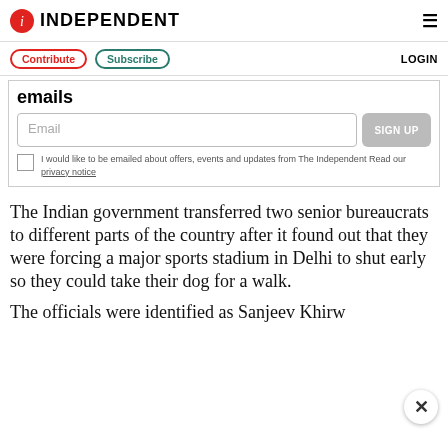INDEPENDENT
Contribute  Subscribe  LOGIN
emails
Email  SIGN UP
I would like to be emailed about offers, events and updates from The Independent Read our privacy notice
The Indian government transferred two senior bureaucrats to different parts of the country after it found out that they were forcing a major sports stadium in Delhi to shut early so they could take their dog for a walk.
The officials were identified as Sanjeev Khirw